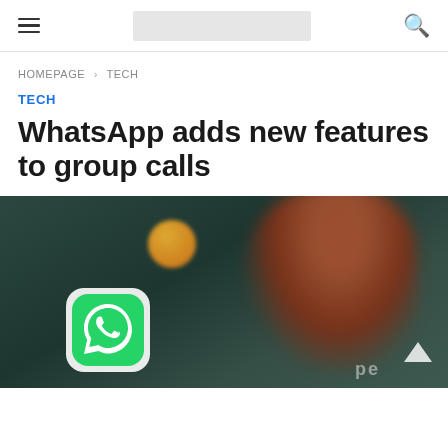Navigation bar with hamburger menu, logo placeholder, and search icon
HOMEPAGE > TECH
TECH
WhatsApp adds new features to group calls
[Figure (photo): Close-up blurred photo of a finger pressing on a smartphone screen showing WhatsApp icon along with another orange app icon, on a dark green background. A scroll-to-top triangle arrow is visible in the bottom right corner.]